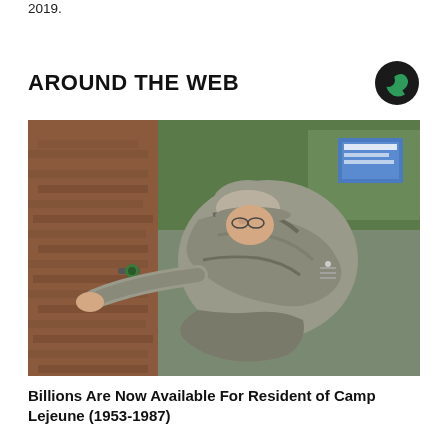2019.
AROUND THE WEB
[Figure (photo): A military serviceman in camouflage uniform and cap, crouching next to a brick wall, appearing to interact with a water pipe or valve fixture on the wall.]
Billions Are Now Available For Resident of Camp Lejeune (1953-1987)